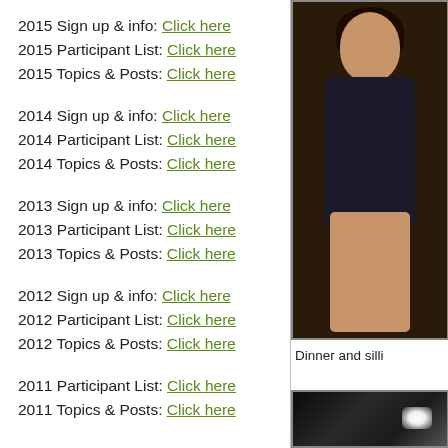2015 Sign up & info: Click here
2015 Participant List: Click here
2015 Topics & Posts: Click here
2014 Sign up & info: Click here
2014 Participant List: Click here
2014 Topics & Posts: Click here
2013 Sign up & info: Click here
2013 Participant List: Click here
2013 Topics & Posts: Click here
2012 Sign up & info: Click here
2012 Participant List: Click here
2012 Topics & Posts: Click here
2011 Participant List: Click here
2011 Topics & Posts: Click here
[Figure (photo): Woman smiling, seated, wearing dark patterned top]
Dinner and silli
[Figure (photo): Dark photo, partially visible, appears to show a lit object]